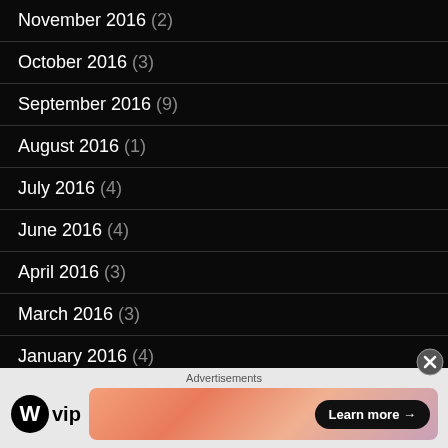November 2016 (2)
October 2016 (3)
September 2016 (9)
August 2016 (1)
July 2016 (4)
June 2016 (4)
April 2016 (3)
March 2016 (3)
January 2016 (4)
December 2015 (3)
Advertisements
[Figure (logo): WordPress VIP logo with circular WordPress icon and 'vip' text, alongside a colorful gradient banner ad with 'Learn more →' button]